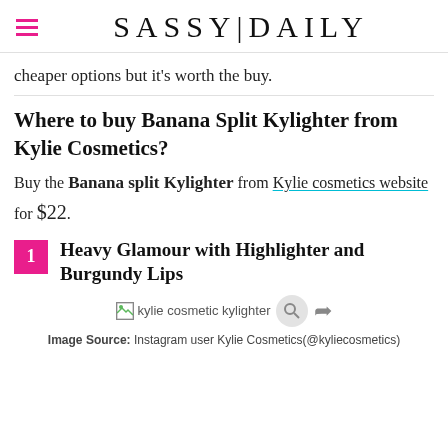SASSY|DAILY
cheaper options but it's worth the buy.
Where to buy Banana Split Kylighter from Kylie Cosmetics?
Buy the Banana split Kylighter from Kylie cosmetics website for $22.
1 Heavy Glamour with Highlighter and Burgundy Lips
[Figure (photo): Broken image placeholder for kylie cosmetic kylighter with share icon]
Image Source: Instagram user Kylie Cosmetics(@kyliecosmetics)